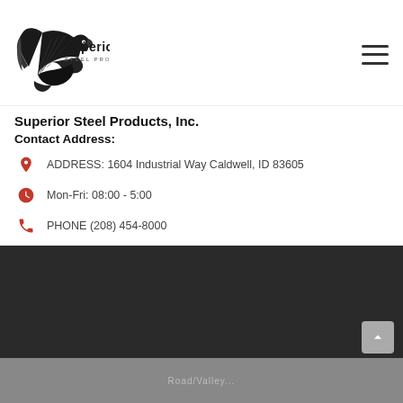[Figure (logo): Superior Steel Products, Inc. logo with eagle and text]
Superior Steel Products, Inc.
Contact Address:
ADDRESS: 1604 Industrial Way Caldwell, ID 83605
Mon-Fri: 08:00 - 5:00
PHONE (208) 454-8000
FAX (208) 454-8184
TOLL FREE 1-800-743-9550
EMAIL: info@ssproducts.com